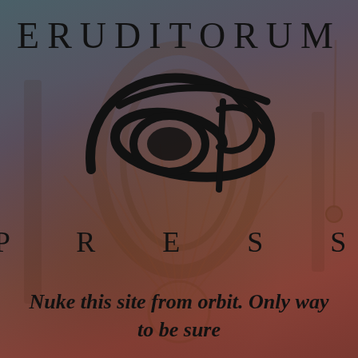ERUDITORUM
[Figure (logo): Eruditorum Press logo: a stylized cursive 'EP' monogram in black, with a large sweeping elliptical curve and calligraphic letterforms]
PRESS
Nuke this site from orbit. Only way to be sure